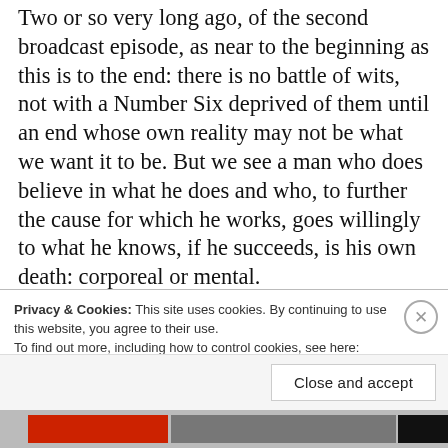Two or so very long ago, of the second broadcast episode, as near to the beginning as this is to the end: there is no battle of wits, not with a Number Six deprived of them until an end whose own reality may not be what we want it to be. But we see a man who does believe in what he does and who, to further the cause for which he works, goes willingly to what he knows, if he succeeds, is his own death: corporeal or mental.
And then the promise. Enter the Supervisor: cold, unsentimental, indeed a little contemptuous of his fallen colleague, even though he has expressed a sadness at what was then, in his mind, only a
Privacy & Cookies: This site uses cookies. By continuing to use this website, you agree to their use.
To find out more, including how to control cookies, see here: Cookie Policy
Close and accept